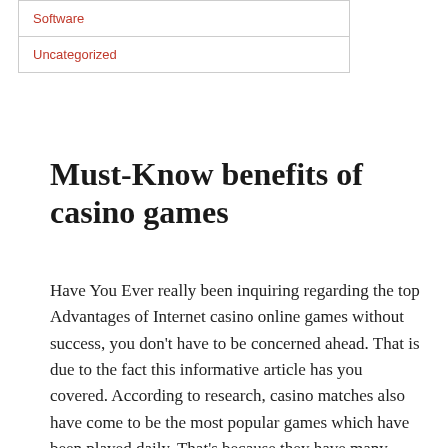Software
Uncategorized
Must-Know benefits of casino games
Have You Ever really been inquiring regarding the top Advantages of Internet casino online games without success, you don't have to be concerned ahead. That is due to the fact this informative article has you covered. According to research, casino matches also have come to be the most popular games which have been played daily. That's because they have many benefits that gamers appreciate. In case you have to play the casino game, hunt for 1xbet giriş,and you also will play with the game. In the event that you aren't part of the 1xbet entrance (1xbet giriş), you are going to tap on the pub named symbol up and